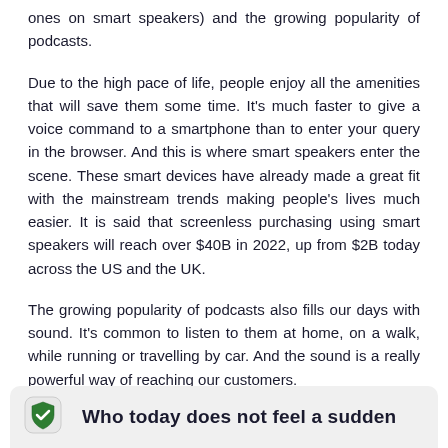ones on smart speakers) and the growing popularity of podcasts.
Due to the high pace of life, people enjoy all the amenities that will save them some time. It's much faster to give a voice command to a smartphone than to enter your query in the browser. And this is where smart speakers enter the scene. These smart devices have already made a great fit with the mainstream trends making people's lives much easier. It is said that screenless purchasing using smart speakers will reach over $40B in 2022, up from $2B today across the US and the UK.
The growing popularity of podcasts also fills our days with sound. It's common to listen to them at home, on a walk, while running or travelling by car. And the sound is a really powerful way of reaching our customers.
Who today does not feel a sudden